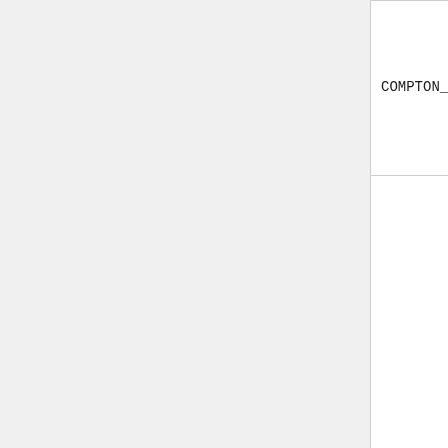| Name | Value | Description |
| --- | --- | --- |
| COMPTON_EKN | 1 | calculating energy and direction of scattered photons (see set ekn input option) |
| COMPTON_DOPPLER | 1 | Flag indicating whether or not Doppler broadening method for energy spectrum of scattered photons is used (see set co input option) |
|  |  | Flag indicating whether or not |